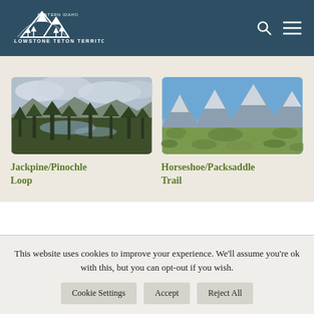YELLOWSTONE TETON TERRITORY
[Figure (photo): Forest landscape with river valley and pine trees under cloudy sky - Jackpine/Pinochle Loop trail photo]
Jackpine/Pinochle Loop
[Figure (photo): Mountain meadow with snow-capped Teton peaks under blue sky - Horseshoe/Packsaddle Trail photo]
Horseshoe/Packsaddle Trail
This website uses cookies to improve your experience. We'll assume you're ok with this, but you can opt-out if you wish.
Cookie Settings | Accept | Reject All